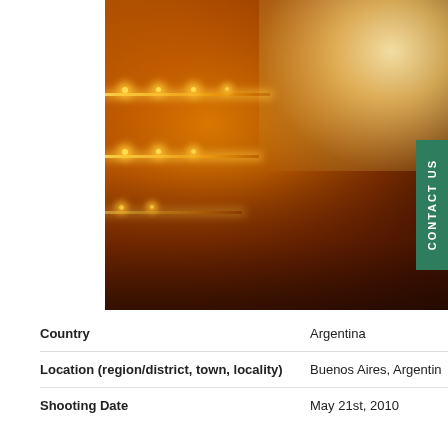[Figure (photo): Interior of an ornate opera theatre/concert hall shot from above, showing golden-lit balcony tiers on the left and an orchestra or audience filling the stage/floor area on the upper right. Warm amber and gold lighting illuminates the decorative balconies with strings of small lights.]
CONTACT US
Country
Argentina
Location (region/district, town, locality)
Buenos Aires, Argentina
Shooting Date
May 21st, 2010